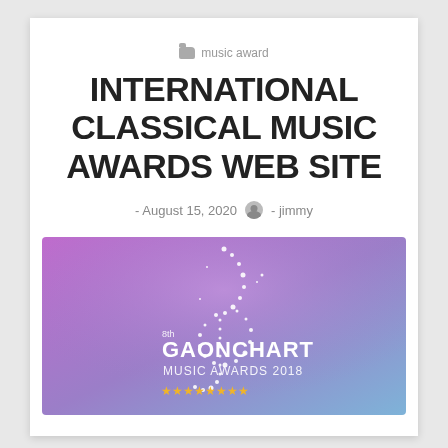music award
INTERNATIONAL CLASSICAL MUSIC AWARDS WEB SITE
- August 15, 2020  - jimmy
[Figure (illustration): Gaon Chart Music Awards 2018 promotional banner with treble clef made of sparkles on a purple-to-blue gradient background. Text reads '8th GAONCHART MUSIC AWARDS 2018' with gold stars at the bottom.]